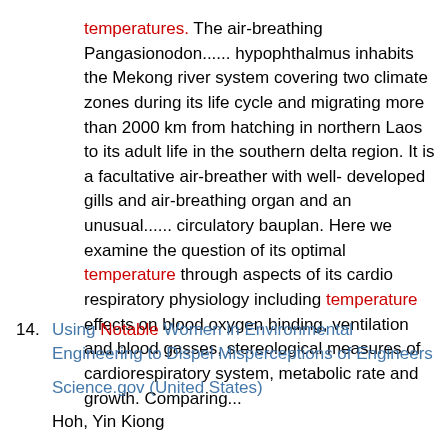temperatures. The air-breathing Pangasionodon...... hypophthalmus inhabits the Mekong river system covering two climate zones during its life cycle and migrating more than 2000 km from hatching in northern Laos to its adult life in the southern delta region. It is a facultative air-breather with well-developed gills and air-breathing organ and an unusual...... circulatory bauplan. Here we examine the question of its optimal temperature through aspects of its cardio respiratory physiology including temperature effects on blood oxygen binding, ventilation and blood gasses, stereological measures of cardiorespiratory system, metabolic rate and growth. Comparing...
14. Using Notable Women in Environmental Engineering to Dispel Misperceptions of Engineers
Science.gov (United States)
Hoh, Yin Kiong
2009-01-01
This paper describes an activity the author has carried out with 70 high school science teachers to enable them to overcome...